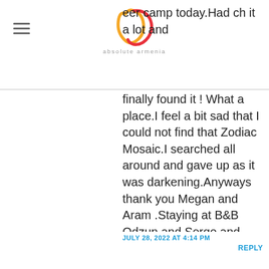absolute armenia [logo]
eer camp today.Had ch it a lot and finally found it ! What a place.I feel a bit sad that I could not find that Zodiac Mosaic.I searched all around and gave up as it was darkening.Anyways thank you Megan and Aram .Staying at B&B Odzun and Sergo and wife remember you 🙂
JULY 28, 2022 AT 4:14 PM
REPLY